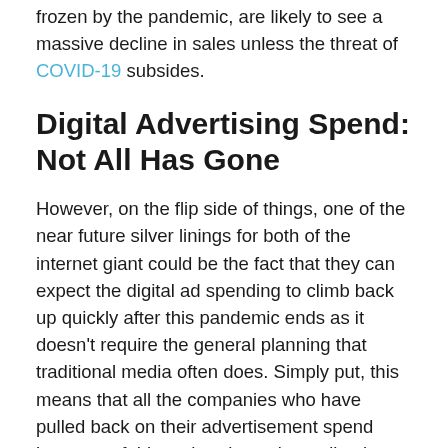frozen by the pandemic, are likely to see a massive decline in sales unless the threat of COVID-19 subsides.
Digital Advertising Spend: Not All Has Gone
However, on the flip side of things, one of the near future silver linings for both of the internet giant could be the fact that they can expect the digital ad spending to climb back up quickly after this pandemic ends as it doesn't require the general planning that traditional media often does. Simply put, this means that all the companies who have pulled back on their advertisement spend because of this outbreak can immediately start off their various paused campaigns at the very first sign of